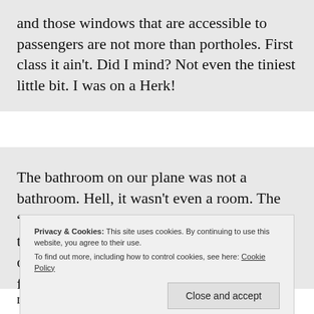and those windows that are accessible to passengers are not more than portholes. First class it ain't. Did I mind? Not even the tiniest little bit. I was on a Herk!
The bathroom on our plane was not a bathroom. Hell, it wasn't even a room. The “head” was just your standard toilet set on top of this little platform with the equivalent of a shower curtain you pull around yourself for privacy. I being the
Privacy & Cookies: This site uses cookies. By continuing to use this website, you agree to their use.
To find out more, including how to control cookies, see here: Cookie Policy
Close and accept
much needed nap. The loadmaster was a